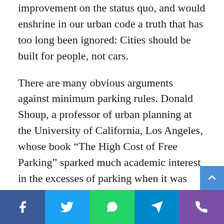improvement on the status quo, and would enshrine in our urban code a truth that has too long been ignored: Cities should be built for people, not cars.

There are many obvious arguments against minimum parking rules. Donald Shoup, a professor of urban planning at the University of California, Los Angeles, whose book “The High Cost of Free Parking” sparked much academic interest in the excesses of parking when it was first published in 2005, points out that the rules raise real estate costs. Parking is expensive — one study found that building-structured on-site parkingadded nearly $36,000 to the cost of building one unit of low-income housing in California. In some places these costs become truly staggering. TheWalt Disney Concert Hall, home to the Los Angeles Philharmonic, has a seating capacity of 2,265 i…
[Figure (infographic): Social media sharing bar at the bottom with Facebook, Twitter, WhatsApp, Telegram, and phone/viber icons]